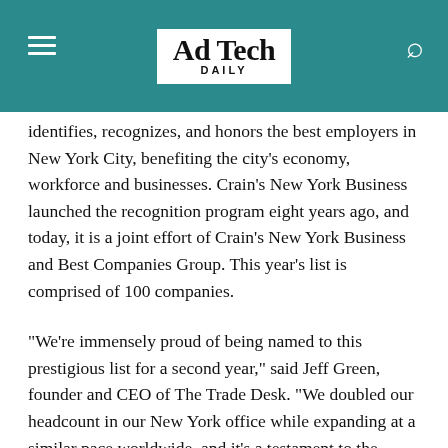Ad Tech DAILY
identifies, recognizes, and honors the best employers in New York City, benefiting the city’s economy, workforce and businesses. Crain’s New York Business launched the recognition program eight years ago, and today, it is a joint effort of Crain’s New York Business and Best Companies Group. This year’s list is comprised of 100 companies.
“We’re immensely proud of being named to this prestigious list for a second year,” said Jeff Green, founder and CEO of The Trade Desk. “We doubled our headcount in our New York office while expanding at a similar pace worldwide, and it’s a testament to the character and culture of our team that we could retain high satisfaction while scaling globally.”